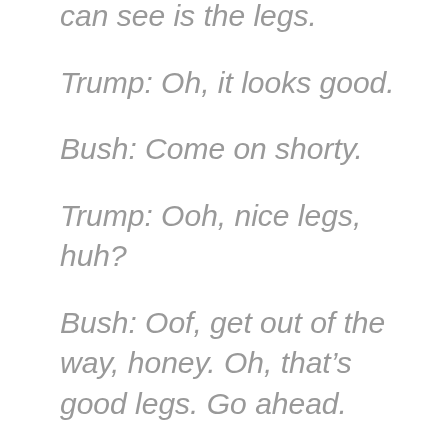can see is the legs.
Trump: Oh, it looks good.
Bush: Come on shorty.
Trump: Ooh, nice legs, huh?
Bush: Oof, get out of the way, honey. Oh, that’s good legs. Go ahead.
Trump: It’s always good if you don’t fall out of the bus. Like Ford, Gerald Ford, remember?